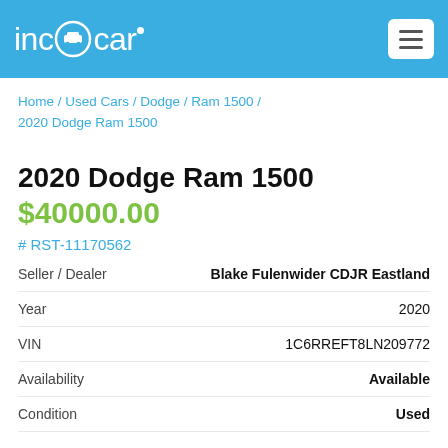inc@car
Home / Used Cars / Dodge / Ram 1500 / 2020 Dodge Ram 1500
2020 Dodge Ram 1500
$40000.00
# RST-11170562
|  |  |
| --- | --- |
| Seller / Dealer | Blake Fulenwider CDJR Eastland |
| Year | 2020 |
| VIN | 1C6RREFT8LN209772 |
| Availability | Available |
| Condition | Used |